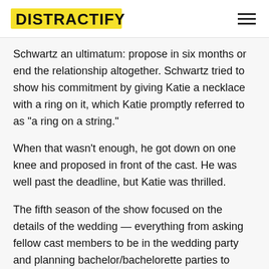DISTRACTIFY
Schwartz an ultimatum: propose in six months or end the relationship altogether. Schwartz tried to show his commitment by giving Katie a necklace with a ring on it, which Katie promptly referred to as "a ring on a string."
When that wasn't enough, he got down on one knee and proposed in front of the cast. He was well past the deadline, but Katie was thrilled.
The fifth season of the show focused on the details of the wedding — everything from asking fellow cast members to be in the wedding party and planning bachelor/bachelorette parties to asking their boss to officiate the nuptials.